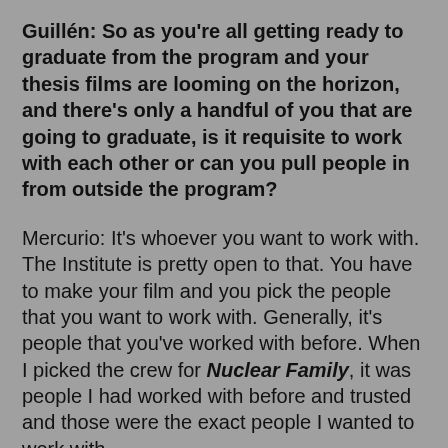Guillén: So as you're all getting ready to graduate from the program and your thesis films are looming on the horizon, and there's only a handful of you that are going to graduate, is it requisite to work with each other or can you pull people in from outside the program?
Mercurio: It's whoever you want to work with. The Institute is pretty open to that. You have to make your film and you pick the people that you want to work with. Generally, it's people that you've worked with before. When I picked the crew for Nuclear Family, it was people I had worked with before and trusted and those were the exact people I wanted to work with.